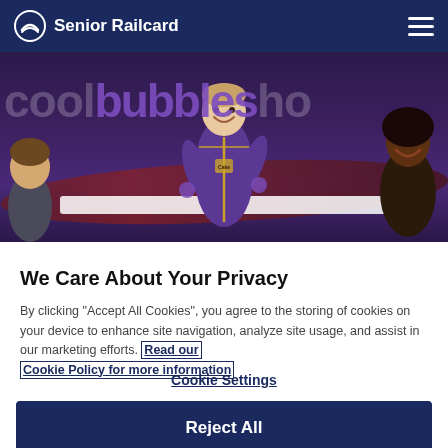Senior Railcard
[Figure (photo): Photo of people at a Bubbles hotel or attraction event; a person in a purple chef/uniform outfit is in the center smiling, with other people around. Text overlay shows 'cool bubbles ho' in large letters.]
We Care About Your Privacy
By clicking “Accept All Cookies”, you agree to the storing of cookies on your device to enhance site navigation, analyze site usage, and assist in our marketing efforts. Read our Cookie Policy for more information
Cookie Settings
Reject All